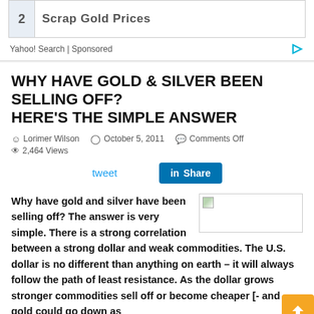[Figure (screenshot): Yahoo! Search sponsored ad box showing '2 Scrap Gold Prices' with ad footer 'Yahoo! Search | Sponsored' and a play/arrow icon]
WHY HAVE GOLD & SILVER BEEN SELLING OFF? HERE'S THE SIMPLE ANSWER
Lorimer Wilson   October 5, 2011   Comments Off   2,464 Views
tweet   Share
Why have gold and silver have been selling off? The answer is very simple. There is a strong correlation between a strong dollar and weak commodities. The U.S. dollar is no different than anything on earth – it will always follow the path of least resistance. As the dollar grows stronger commodities sell off or become cheaper [- and gold could go down as